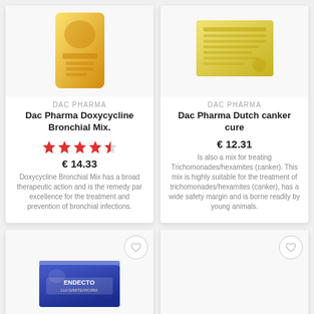[Figure (photo): Product card for Dac Pharma Doxycycline Bronchial Mix with product image, star rating, price, and description]
DAC PHARMA
Dac Pharma Doxycycline Bronchial Mix.
€ 14.33
Doxycycline Bronchial Mix has a broad therapeutic action and is the remedy par excellence for the treatment and prevention of bronchial infections.
[Figure (photo): Product card for Dac Pharma Dutch canker cure with product image, price, and description]
DAC PHARMA
Dac Pharma Dutch canker cure
€ 12.31
Is also a mix for treating Trichomonades/hexamites (canker). This mix is highly suitable for the treatment of trichomonades/hexamites (canker), has a wide safety margin and is borne readily by young animals.
[Figure (photo): Product card for Endecto product (lice/mite/worm) showing blue box packaging, partially visible]
[Figure (photo): Product card (bottom right), empty/loading product image with wishlist heart icon]